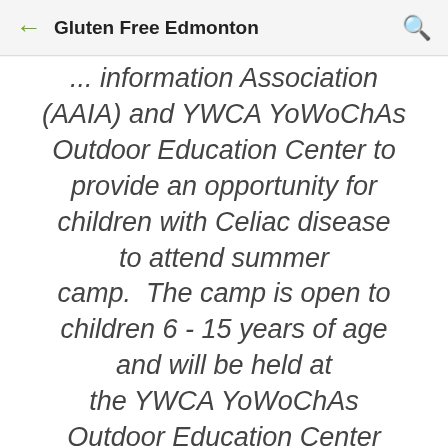Gluten Free Edmonton
... information Association (AAIA) and YWCA YoWoChAs Outdoor Education Center to provide an opportunity for children with Celiac disease to attend summer camp.  The camp is open to children 6 - 15 years of age and will be held at the YWCA YoWoChAs Outdoor Education Center (80 km west of Edmonton, AB) from August 5 - 9, 2013.  The Celiac campers will participate in all camp...